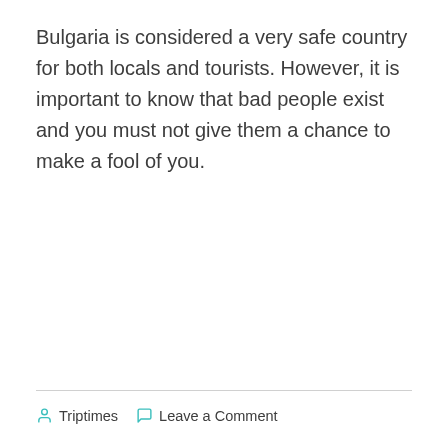Bulgaria is considered a very safe country for both locals and tourists. However, it is important to know that bad people exist and you must not give them a chance to make a fool of you.
Triptimes   Leave a Comment